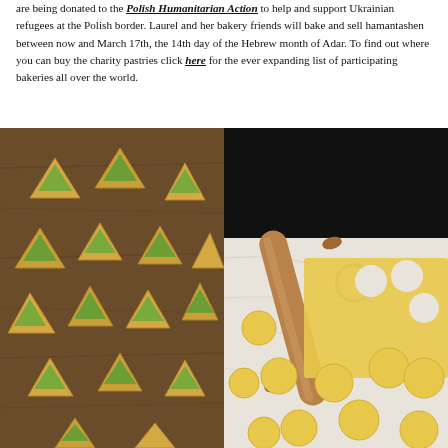are being donated to the Polish Humanitarian Action to help and support Ukrainian refugees at the Polish border. Laurel and her bakery friends will bake and sell hamantashen between now and March 17th, the 14th day of the Hebrew month of Adar. To find out where you can buy the charity pastries click here for the ever expanding list of participating bakeries all over the world.
[Figure (photo): Two food photographs side by side: left photo shows multiple golden-yellow hamantashen pastries with green filling arranged on a dark wooden cutting board; right photo shows a rolling pin and round cookie cutter on a marble surface surrounded by cut circles of yellow dough.]